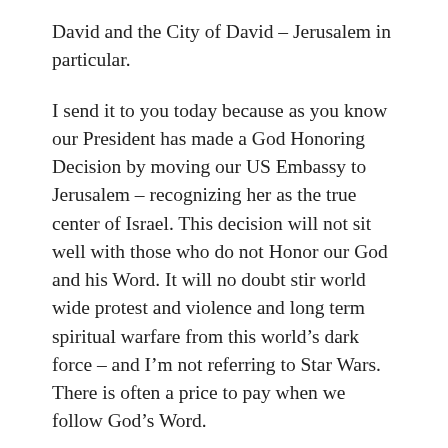David and the City of David – Jerusalem in particular.
I send it to you today because as you know our President has made a God Honoring Decision by moving our US Embassy to Jerusalem – recognizing her as the true center of Israel. This decision will not sit well with those who do not Honor our God and his Word. It will no doubt stir world wide protest and violence and long term spiritual warfare from this world's dark force – and I'm not referring to Star Wars. There is often a price to pay when we follow God's Word.
“I will put my Spirit in you, and you will live again and return home to your own land. Then you will know that I, the Lord, have spoken, and I have done what I said. Yes, the Lord has